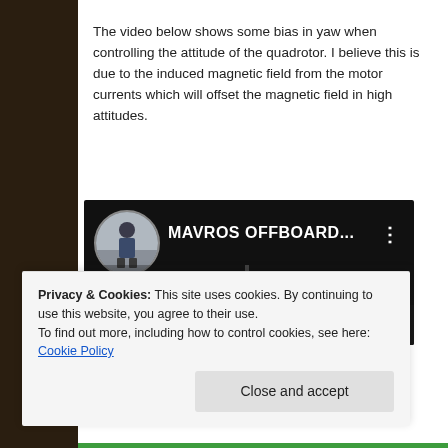The video below shows some bias in yaw when controlling the attitude of the quadrotor. I believe this is due to the induced magnetic field from the motor currents which will offset the magnetic field in high attitudes.
[Figure (screenshot): YouTube video thumbnail showing 'MAVROS OFFBOARD...' with a circular avatar/preview image of a person in a room, on a dark background with three-dot menu icon]
Privacy & Cookies: This site uses cookies. By continuing to use this website, you agree to their use.
To find out more, including how to control cookies, see here: Cookie Policy